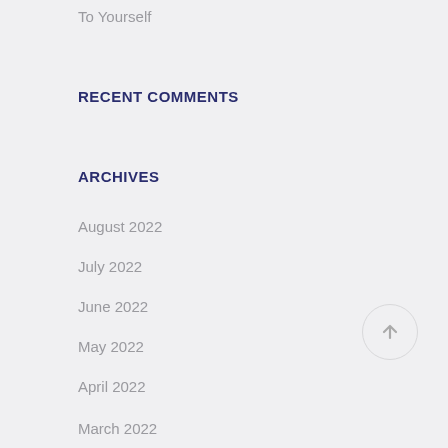To Yourself
RECENT COMMENTS
ARCHIVES
August 2022
July 2022
June 2022
May 2022
April 2022
March 2022
February 2022